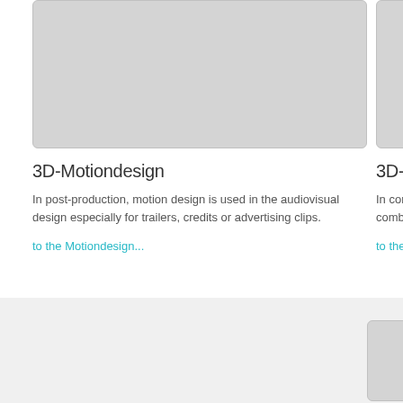[Figure (illustration): Light gray placeholder image box for 3D-Motiondesign card, left column]
[Figure (illustration): Light gray placeholder image box for 3D-Compositing card, right column (partially visible)]
3D-Motiondesign
3D-Compositin…
In post-production, motion design is used in the audiovisual design especially for trailers, credits or advertising clips.
In compositing, in… combined into a c…
to the Motiondesign...
to the Compositin…
3D-Underwater Filming
Due to our unique location at the Warnemünde Lighthouse, directly on the Baltic S… underwater shots like no other company.
[Figure (illustration): Light gray placeholder image box, bottom left]
[Figure (illustration): Light gray placeholder image box, bottom right (partially visible)]